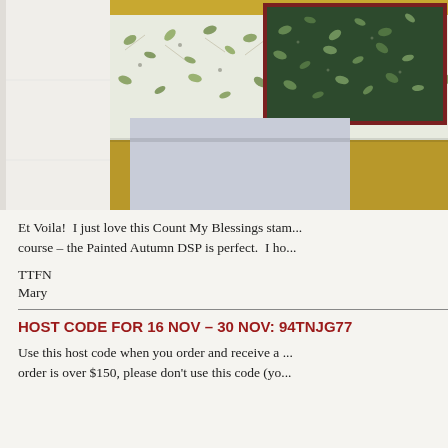[Figure (photo): Craft/stamping project photo showing floral leaf-patterned paper (Painted Autumn DSP) on a mustard/gold background, with a dark green card with dark red border overlaid with the same leaf pattern, and a blue-grey card below. Left side shows light grey textured background.]
Et Voila!  I just love this Count My Blessings stam... course – the Painted Autumn DSP is perfect.  I ho...
TTFN
Mary
HOST CODE FOR 16 NOV – 30 NOV: 94TNJG77
Use this host code when you order and receive a ... order is over $150, please don't use this code (yo...